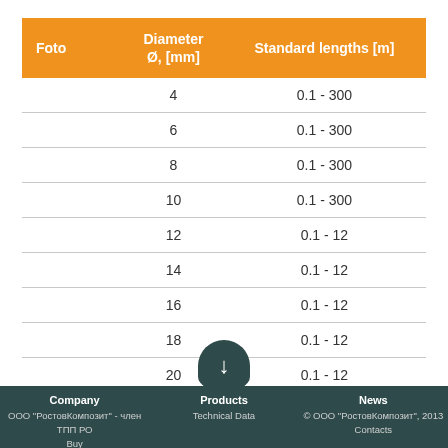| Foto | Diameter Ø, [mm] | Standard lengths [m] |
| --- | --- | --- |
|  | 4 | 0.1 - 300 |
|  | 6 | 0.1 - 300 |
|  | 8 | 0.1 - 300 |
|  | 10 | 0.1 - 300 |
|  | 12 | 0.1 - 12 |
|  | 14 | 0.1 - 12 |
|  | 16 | 0.1 - 12 |
|  | 18 | 0.1 - 12 |
|  | 20 | 0.1 - 12 |
Company | ООО "РостовКомпозит" - член ТПП РО | Buy    Products | Technical Data    News | © ООО "РостовКомпозит", 2013 | Contacts